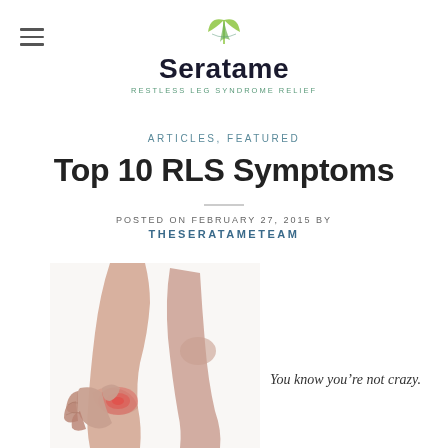[Figure (logo): Seratame logo with leaf icon and tagline 'RESTLESS LEG SYNDROME RELIEF']
ARTICLES, FEATURED
Top 10 RLS Symptoms
POSTED ON FEBRUARY 27, 2015 BY THESERATAMETEAM
[Figure (photo): Person clutching lower leg/calf with highlighted red pain area, showing restless leg syndrome symptom]
You know you’re not crazy.